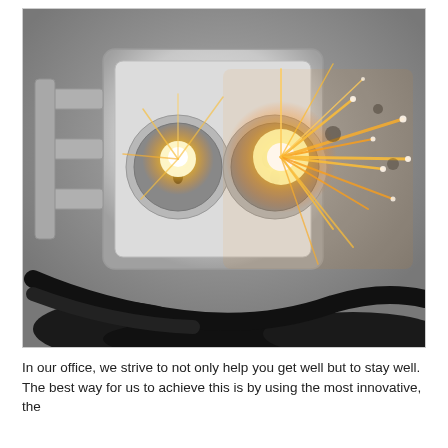[Figure (photo): Close-up photograph of an electrical wall outlet/socket with two bright sparks or electrical arcs emanating from it, with visible golden glowing light and dramatic sparks spraying outward against a grey background with cables visible.]
In our office, we strive to not only help you get well but to stay well. The best way for us to achieve this is by using the most innovative, the